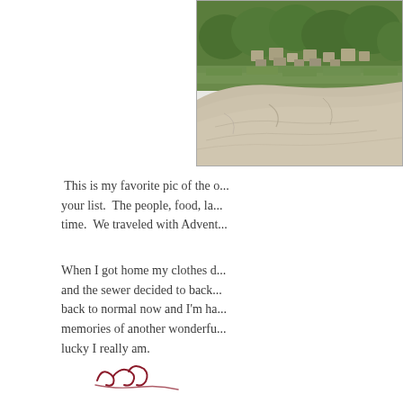[Figure (photo): Aerial or elevated view of ancient ruins with stone structures and green vegetation, likely Machu Picchu or similar archaeological site. Stone rocks in foreground, ruins and trees in background.]
This is my favorite pic of the o... your list.  The people, food, la... time.  We traveled with Advent...
When I got home my clothes d... and the sewer decided to back... back to normal now and I'm ha... memories of another wonderfu... lucky I really am.
[Figure (illustration): Handwritten cursive signature or closing text in dark red/maroon color]